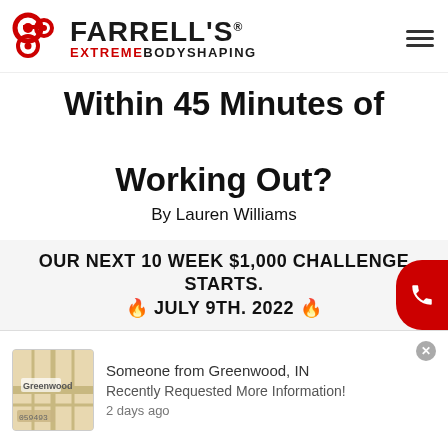[Figure (logo): Farrell's Extreme Bodyshaping logo with red dumbbell/kettlebell icon and bold text]
Within 45 Minutes of Working Out?
By Lauren Williams
If you've attended a Farrell's FXB
OUR NEXT 10 WEEK $1,000 CHALLENGE STARTS. 🔥 JULY 9TH. 2022 🔥
Someone from Greenwood, IN
Recently Requested More Information!
2 days ago